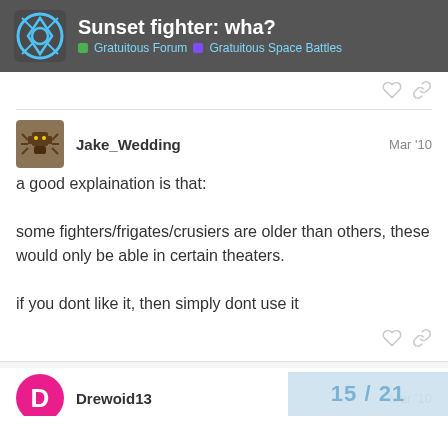Sunset fighter: wha? | Gratuitous Forum | Gratuitous Space Battles
Jake_Wedding Mar '10
a good explaination is that:

some fighters/frigates/crusiers are older than others, these would only be able in certain theaters.

if you dont like it, then simply dont use it
Drewoid13 Mar '10
but to not use them would mean it was a
make them! they are, simply, unbalance
15 / 21